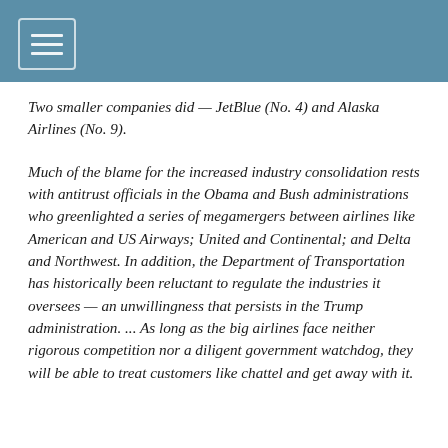Two smaller companies did — JetBlue (No. 4) and Alaska Airlines (No. 9).
Much of the blame for the increased industry consolidation rests with antitrust officials in the Obama and Bush administrations who greenlighted a series of megamergers between airlines like American and US Airways; United and Continental; and Delta and Northwest. In addition, the Department of Transportation has historically been reluctant to regulate the industries it oversees — an unwillingness that persists in the Trump administration. ... As long as the big airlines face neither rigorous competition nor a diligent government watchdog, they will be able to treat customers like chattel and get away with it.